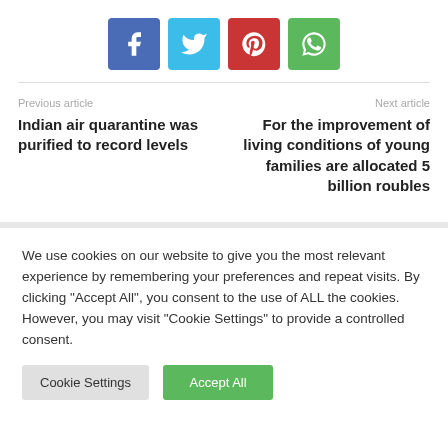[Figure (other): Social share buttons: Facebook (blue), Twitter (light blue), Pinterest (red), WhatsApp (green)]
Previous article
Indian air quarantine was purified to record levels
Next article
For the improvement of living conditions of young families are allocated 5 billion roubles
We use cookies on our website to give you the most relevant experience by remembering your preferences and repeat visits. By clicking "Accept All", you consent to the use of ALL the cookies. However, you may visit "Cookie Settings" to provide a controlled consent.
Cookie Settings | Accept All